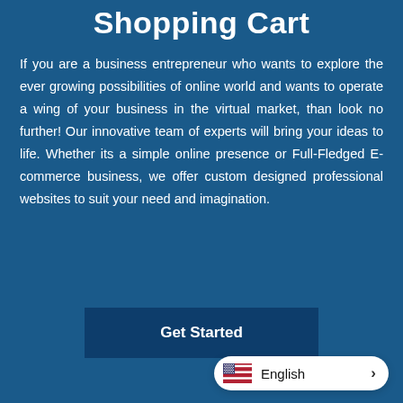Shopping Cart
If you are a business entrepreneur who wants to explore the ever growing possibilities of online world and wants to operate a wing of your business in the virtual market, than look no further! Our innovative team of experts will bring your ideas to life. Whether its a simple online presence or Full-Fledged E-commerce business, we offer custom designed professional websites to suit your need and imagination.
Get Started
English